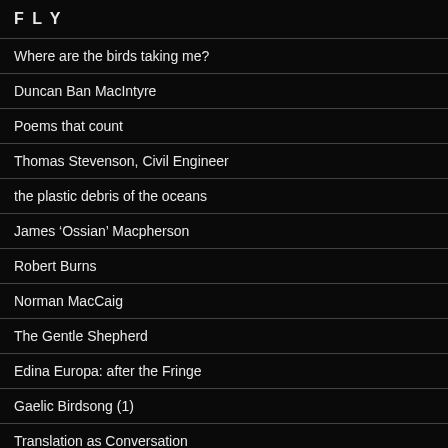F L Y
Where are the birds taking me?
Duncan Ban MacIntyre
Poems that count
Thomas Stevenson, Civil Engineer
the plastic debris of the oceans
James ‘Ossian’ Macpherson
Robert Burns
Norman MacCaig
The Gentle Shepherd
Edina Europa: after the Fringe
Gaelic Birdsong (1)
Translation as Conversation